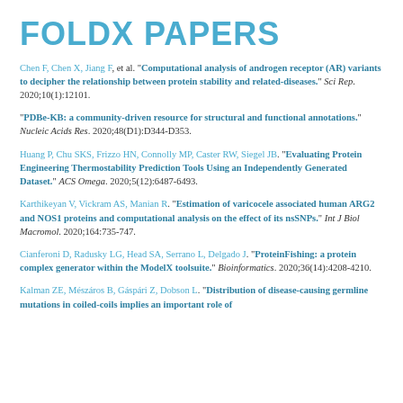FOLDX PAPERS
Chen F, Chen X, Jiang F, et al. "Computational analysis of androgen receptor (AR) variants to decipher the relationship between protein stability and related-diseases." Sci Rep. 2020;10(1):12101.
"PDBe-KB: a community-driven resource for structural and functional annotations." Nucleic Acids Res. 2020;48(D1):D344-D353.
Huang P, Chu SKS, Frizzo HN, Connolly MP, Caster RW, Siegel JB. "Evaluating Protein Engineering Thermostability Prediction Tools Using an Independently Generated Dataset." ACS Omega. 2020;5(12):6487-6493.
Karthikeyan V, Vickram AS, Manian R. "Estimation of varicocele associated human ARG2 and NOS1 proteins and computational analysis on the effect of its nsSNPs." Int J Biol Macromol. 2020;164:735-747.
Cianferoni D, Radusky LG, Head SA, Serrano L, Delgado J. "ProteinFishing: a protein complex generator within the ModelX toolsuite." Bioinformatics. 2020;36(14):4208-4210.
Kalman ZE, Mészáros B, Gáspári Z, Dobson L. "Distribution of disease-causing germline mutations in coiled-coils implies an important role of